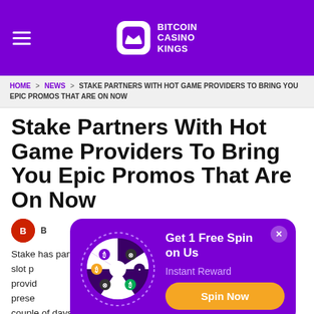Bitcoin Casino Kings
HOME > NEWS > STAKE PARTNERS WITH HOT GAME PROVIDERS TO BRING YOU EPIC PROMOS THAT ARE ON NOW
Stake Partners With Hot Game Providers To Bring You Epic Promos That Are On Now
Stake has partnered with hot green slot providers... providers... to present... next couple of days and weeks.
[Figure (infographic): Popup modal with spinning wheel graphic, text 'Get 1 Free Spin on Us', 'Instant Reward', and orange 'Spin Now' button]